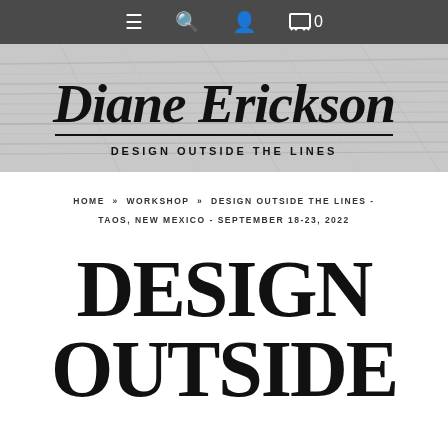☰ 🔍 👤 🛒 0
[Figure (logo): Diane Erickson - Design Outside The Lines logo banner with handwritten script name over textured crosshatch background]
HOME » WORKSHOP » DESIGN OUTSIDE THE LINES - TAOS, NEW MEXICO - SEPTEMBER 18-23, 2022
DESIGN OUTSIDE